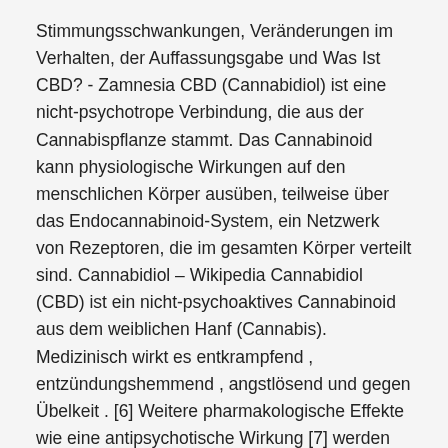Stimmungsschwankungen, Veränderungen im Verhalten, der Auffassungsgabe und Was Ist CBD? - Zamnesia CBD (Cannabidiol) ist eine nicht-psychotrope Verbindung, die aus der Cannabispflanze stammt. Das Cannabinoid kann physiologische Wirkungen auf den menschlichen Körper ausüben, teilweise über das Endocannabinoid-System, ein Netzwerk von Rezeptoren, die im gesamten Körper verteilt sind. Cannabidiol – Wikipedia Cannabidiol (CBD) ist ein nicht-psychoaktives Cannabinoid aus dem weiblichen Hanf (Cannabis). Medizinisch wirkt es entkrampfend , entzündungshemmend , angstlösend und gegen Übelkeit . [6] Weitere pharmakologische Effekte wie eine antipsychotische Wirkung [7] werden erforscht.
14 Dez 2018 Cannabidiol im...